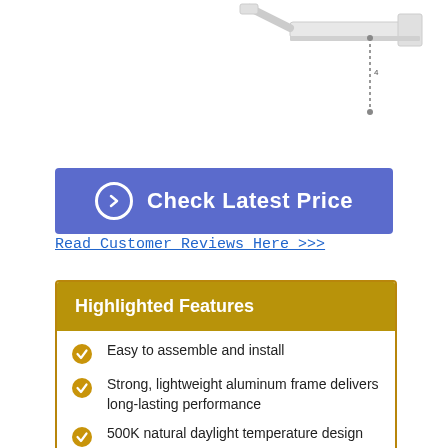[Figure (engineering-diagram): Partial engineering diagram of a lighting fixture with a rail/track component shown in white/gray, with a hanging chain or wire below it, visible in upper right area of the page.]
Check Latest Price
Read Customer Reviews Here >>>
Highlighted Features
Easy to assemble and install
Strong, lightweight aluminum frame delivers long-lasting performance
500K natural daylight temperature design